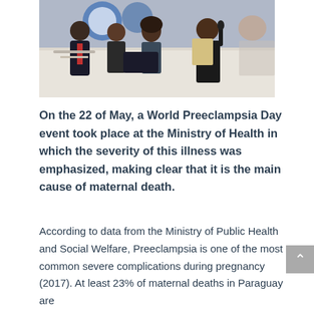[Figure (photo): People seated at a table with a white tablecloth at what appears to be a panel event or press conference. One woman is speaking into a microphone and holding papers. In the background there is a banner/logo visible.]
On the 22 of May, a World Preeclampsia Day event took place at the Ministry of Health in which the severity of this illness was emphasized, making clear that it is the main cause of maternal death.
According to data from the Ministry of Public Health and Social Welfare, Preeclampsia is one of the most common severe complications during pregnancy (2017). At least 23% of maternal deaths in Paraguay are